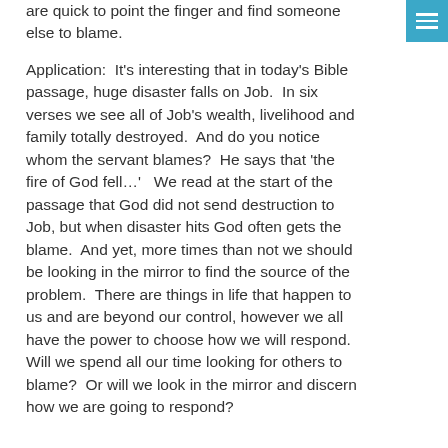are quick to point the finger and find someone else to blame.
Application:  It's interesting that in today's Bible passage, huge disaster falls on Job.  In six verses we see all of Job's wealth, livelihood and family totally destroyed.  And do you notice whom the servant blames?  He says that 'the fire of God fell…'   We read at the start of the passage that God did not send destruction to Job, but when disaster hits God often gets the blame.  And yet, more times than not we should be looking in the mirror to find the source of the problem.  There are things in life that happen to us and are beyond our control, however we all have the power to choose how we will respond.  Will we spend all our time looking for others to blame?  Or will we look in the mirror and discern how we are going to respond?